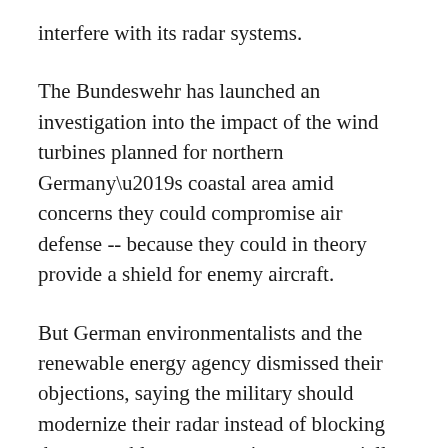interfere with its radar systems.
The Bundeswehr has launched an investigation into the impact of the wind turbines planned for northern Germany’s coastal area amid concerns they could compromise air defense -- because they could in theory provide a shield for enemy aircraft.
But German environmentalists and the renewable energy agency dismissed their objections, saying the military should modernize their radar instead of blocking the renewable energy projects -- especially 20 years after the end of the Cold War.
“The Bundeswehr says their radar cannot detect what is going on behind the spinning turbines, but they have